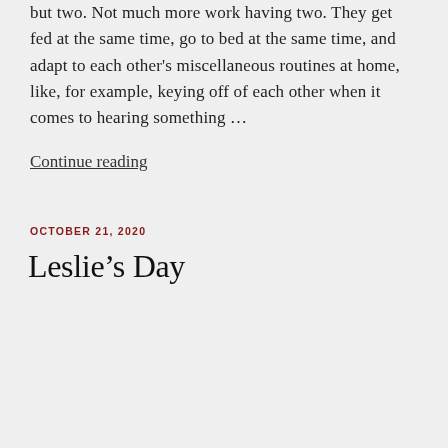but two. Not much more work having two. They get fed at the same time, go to bed at the same time, and adapt to each other's miscellaneous routines at home, like, for example, keying off of each other when it comes to hearing something …
Continue reading
OCTOBER 21, 2020
Leslie's Day